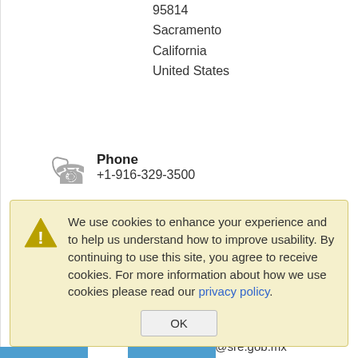95814
Sacramento
California
United States
Phone
+1-916-329-3500
Fax
+1-916-441-3147
Email
sacramento@sre.gob.mx
Website URL
http://consulmex.sre.gob.mx/sacramento
We use cookies to enhance your experience and to help us understand how to improve usability. By continuing to use this site, you agree to receive cookies. For more information about how we use cookies please read our privacy policy.